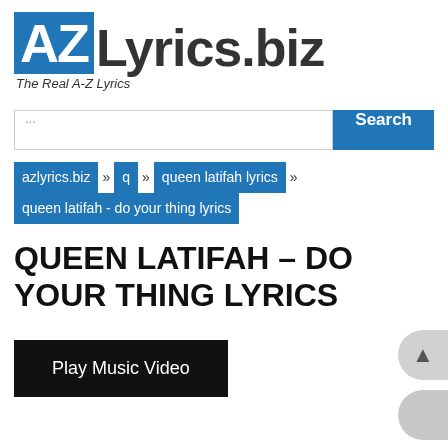[Figure (logo): AZLyrics.biz logo with blue box containing 'AZ' in white, followed by 'Lyrics.biz' in dark text, and tagline 'The Real A-Z Lyrics']
...
azlyrics.biz » q » queen latifah lyrics » queen latifah - do your thing lyrics
QUEEN LATIFAH – DO YOUR THING LYRICS
Play Music Video